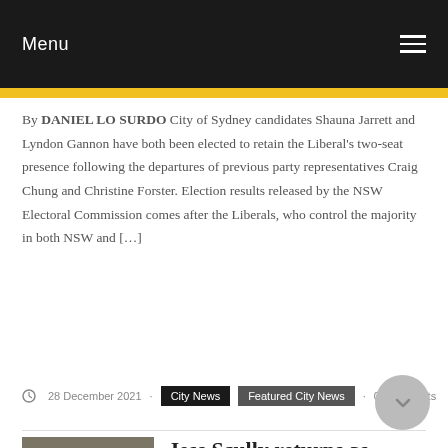Menu
By DANIEL LO SURDO City of Sydney candidates Shauna Jarrett and Lyndon Gannon have both been elected to retain the Liberal's two-seat presence following the departures of previous party representatives Craig Chung and Christine Forster. Election results released by the NSW Electoral Commission comes after the Liberals, who control the majority in both NSW and […]
28 December 2021 · City News · Featured City News · 0 Comments
Jess Scully returns as Deputy Lord Mayor on new City of Sydney term
[Figure (photo): Group photo of people standing in front of a building]
By DANIEL LO SURDO Jess Scully has retained her posting as deputy lord mayor after she was